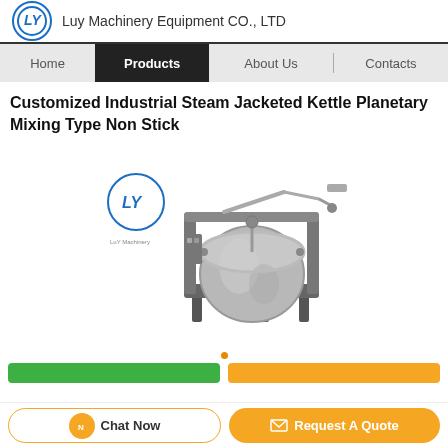Luy Machinery Equipment CO., LTD
Customized Industrial Steam Jacketed Kettle Planetary Mixing Type Non Stick
[Figure (photo): Industrial steam jacketed kettle planetary mixing machine, stainless steel construction, shown on a frame with mixing arm and spherical bowl]
Chat Now | Request A Quote